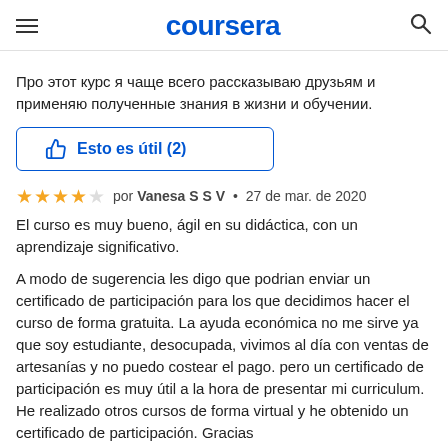coursera
Про этот курс я чаще всего рассказываю друзьям и применяю полученные знания в жизни и обучении.
👍 Esto es útil (2)
★★★★☆ por Vanesa S S V • 27 de mar. de 2020
El curso es muy bueno, ágil en su didáctica, con un aprendizaje significativo.

A modo de sugerencia les digo que podrian enviar un certificado de participación para los que decidimos hacer el curso de forma gratuita. La ayuda económica no me sirve ya que soy estudiante, desocupada, vivimos al día con ventas de artesanías y no puedo costear el pago. pero un certificado de participación es muy útil a la hora de presentar mi curriculum.  He realizado otros cursos de forma virtual y he obtenido un certificado de participación. Gracias